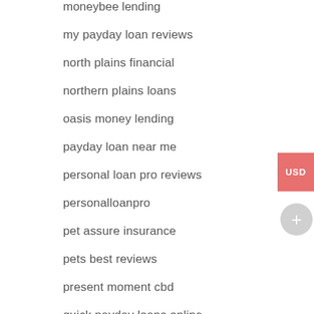moneybee lending
my payday loan reviews
north plains financial
northern plains loans
oasis money lending
payday loan near me
personal loan pro reviews
personalloanpro
pet assure insurance
pets best reviews
present moment cbd
quick payday loans online
red river credit
red river loans okc
southwest financial loan near me
southwest financial payday loans